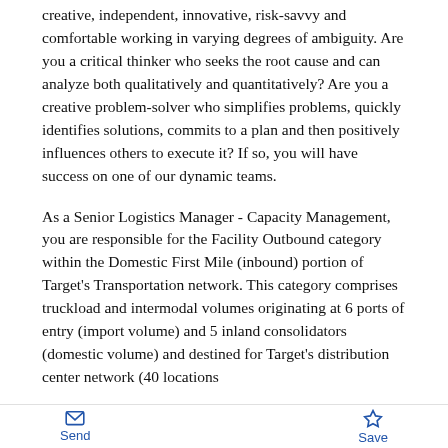creative, independent, innovative, risk-savvy and comfortable working in varying degrees of ambiguity. Are you a critical thinker who seeks the root cause and can analyze both qualitatively and quantitatively? Are you a creative problem-solver who simplifies problems, quickly identifies solutions, commits to a plan and then positively influences others to execute it? If so, you will have success on one of our dynamic teams.
As a Senior Logistics Manager - Capacity Management, you are responsible for the Facility Outbound category within the Domestic First Mile (inbound) portion of Target's Transportation network. This category comprises truckload and intermodal volumes originating at 6 ports of entry (import volume) and 5 inland consolidators (domestic volume) and destined for Target's distribution center network (40 locations
Send   Save